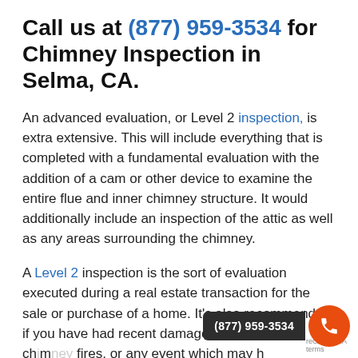Call us at (877) 959-3534 for Chimney Inspection in Selma, CA.
An advanced evaluation, or Level 2 inspection, is extra extensive. This will include everything that is completed with a fundamental evaluation with the addition of a cam or other device to examine the entire flue and inner chimney structure. It would additionally include an inspection of the attic as well as any areas surrounding the chimney.
A Level 2 inspection is the sort of evaluation executed during a real estate transaction for the sale or purchase of a home. It’s also recommended if you have had recent damage, earthquakes, chimney fires, or any event which may have damaged the structure of the chimney. If you’re preparing to...